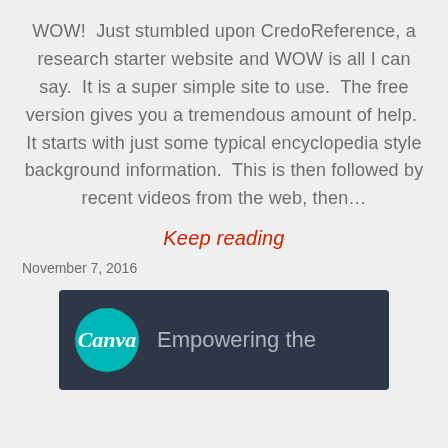WOW! Just stumbled upon CredoReference, a research starter website and WOW is all I can say. It is a super simple site to use. The free version gives you a tremendous amount of help. It starts with just some typical encyclopedia style background information. This is then followed by recent videos from the web, then…
Keep reading
November 7, 2016
[Figure (illustration): Canva logo (teal circle with italic 'Canva' text in white) on a dark slate background, with the text 'Empowering the' in grey to the right]